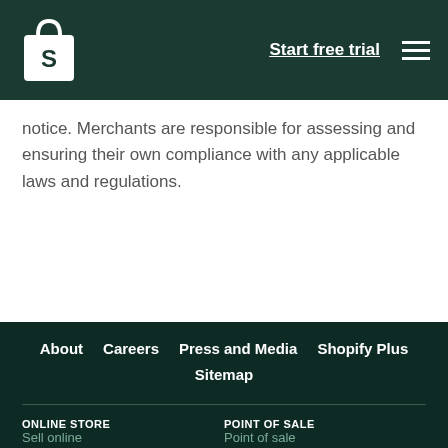Start free trial
notice. Merchants are responsible for assessing and ensuring their own compliance with any applicable laws and regulations.
About
Careers
Press and Media
Shopify Plus
Sitemap
ONLINE STORE
POINT OF SALE
Sell online
Point of sale
Features
Features
Examples
Hardware